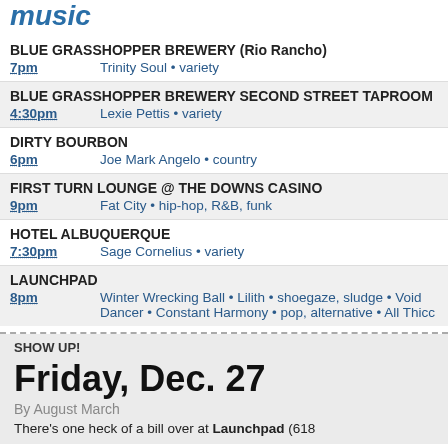Music
BLUE GRASSHOPPER BREWERY (Rio Rancho) | 7pm | Trinity Soul • variety
BLUE GRASSHOPPER BREWERY SECOND STREET TAPROOM | 4:30pm | Lexie Pettis • variety
DIRTY BOURBON | 6pm | Joe Mark Angelo • country
FIRST TURN LOUNGE @ THE DOWNS CASINO | 9pm | Fat City • hip-hop, R&B, funk
HOTEL ALBUQUERQUE | 7:30pm | Sage Cornelius • variety
LAUNCHPAD | 8pm | Winter Wrecking Ball • Lilith • shoegaze, sludge • Void Dancer • Constant Harmony • pop, alternative • All Thicc
SHOW UP!
Friday, Dec. 27
By August March
There's one heck of a bill over at Launchpad (618